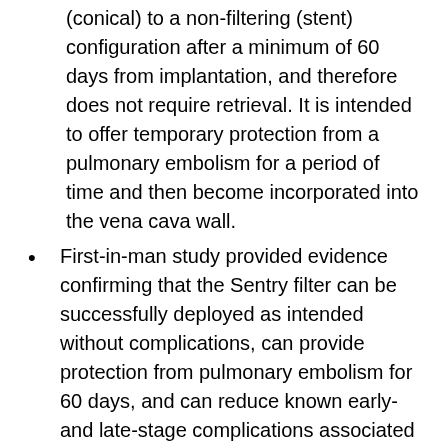(conical) to a non-filtering (stent) configuration after a minimum of 60 days from implantation, and therefore does not require retrieval. It is intended to offer temporary protection from a pulmonary embolism for a period of time and then become incorporated into the vena cava wall.
First-in-man study provided evidence confirming that the Sentry filter can be successfully deployed as intended without complications, can provide protection from pulmonary embolism for 60 days, and can reduce known early- and late-stage complications associated with filters.
Enrolled 14 patients of whom 12 remained in the study through a 12-month follow-up. The operators achieved technical success in all patients (defined as deployment interpreted as...